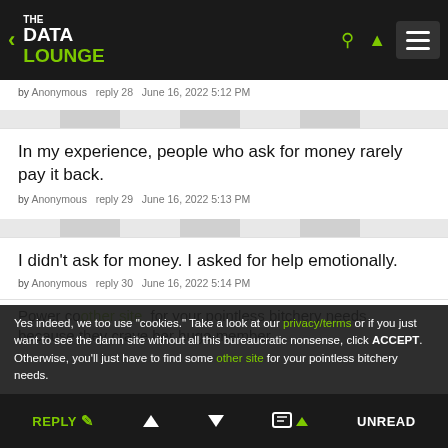THE DATA LOUNGE
by Anonymous   reply 28   June 16, 2022 5:12 PM
In my experience, people who ask for money rarely pay it back.
by Anonymous   reply 29   June 16, 2022 5:13 PM
I didn't ask for money. I asked for help emotionally.
by Anonymous   reply 30   June 16, 2022 5:14 PM
Power co...   for your pointless bitchery needs, because they crave her huge member.
Yes indeed, we too use "cookies." Take a look at our privacy/terms or if you just want to see the damn site without all this bureaucratic nonsense, click ACCEPT. Otherwise, you'll just have to find some other site for your pointless bitchery needs.
REPLY  ▲  ▼  UNREAD